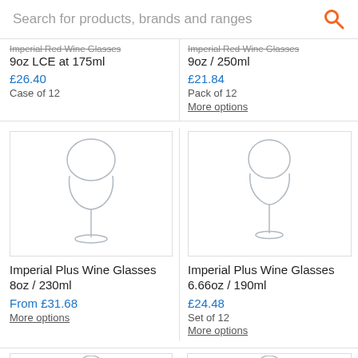Search for products, brands and ranges
Imperial Red Wine Glasses 9oz LCE at 175ml
£26.40
Case of 12
Imperial Red Wine Glasses 9oz / 250ml
£21.84
Pack of 12
More options
[Figure (photo): Imperial Plus Wine Glass 8oz / 230ml on white background]
[Figure (photo): Imperial Plus Wine Glass 6.66oz / 190ml on white background]
Imperial Plus Wine Glasses 8oz / 230ml
From £31.68
More options
Imperial Plus Wine Glasses 6.66oz / 190ml
£24.48
Set of 12
More options